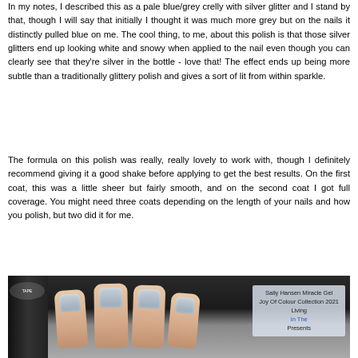In my notes, I described this as a pale blue/grey crelly with silver glitter and I stand by that, though I will say that initially I thought it was much more grey but on the nails it distinctly pulled blue on me. The cool thing, to me, about this polish is that those silver glitters end up looking white and snowy when applied to the nail even though you can clearly see that they're silver in the bottle - love that! The effect ends up being more subtle than a traditionally glittery polish and gives a sort of lit from within sparkle.
The formula on this polish was really, really lovely to work with, though I definitely recommend giving it a good shake before applying to get the best results. On the first coat, this was a little sheer but fairly smooth, and on the second coat I got full coverage. You might need three coats depending on the length of your nails and how you polish, but two did it for me.
[Figure (photo): Photo of fingers with pale blue/grey glittery nail polish applied, next to a dark nail polish bottle with tape label. Watermark overlay reads: Sally Hansen Miracle Gel Joy Of Colour Collection 2021 Living In The Presents]